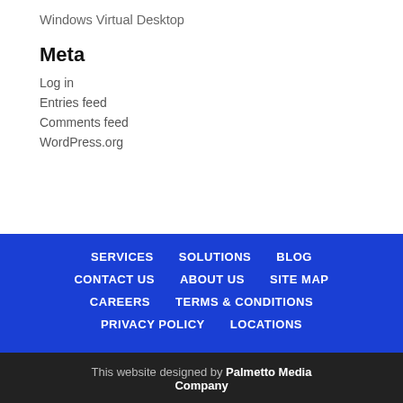Windows Virtual Desktop
Meta
Log in
Entries feed
Comments feed
WordPress.org
SERVICES   SOLUTIONS   BLOG   CONTACT US   ABOUT US   SITE MAP   CAREERS   TERMS & CONDITIONS   PRIVACY POLICY   LOCATIONS
This website designed by Palmetto Media Company